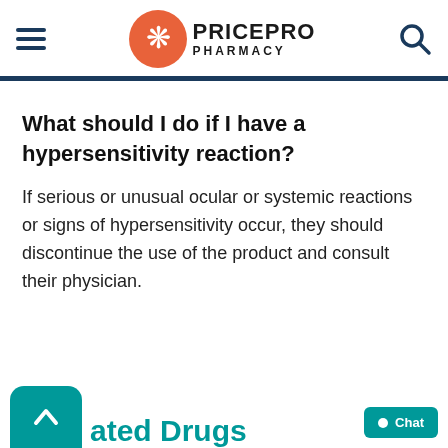PricePro Pharmacy
What should I do if I have a hypersensitivity reaction?
If serious or unusual ocular or systemic reactions or signs of hypersensitivity occur, they should discontinue the use of the product and consult their physician.
ated Drugs